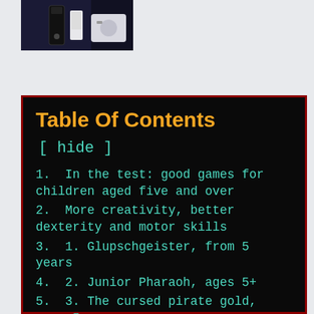[Figure (photo): Photo of electronic devices including what appears to be a remote control or gaming device on a white background with dark backdrop]
Table Of Contents
[ hide ]
1. In the test: good games for children aged five and over
2. More creativity, better dexterity and motor skills
3. 1. Glupschgeister, from 5 years
4. 2. Junior Pharaoh, ages 5+
5. 3. The cursed pirate gold, ages 5+
6. 4. Schlaraffen monkeys, ages 5+
7. 5. The mysterious magic lake, from 5